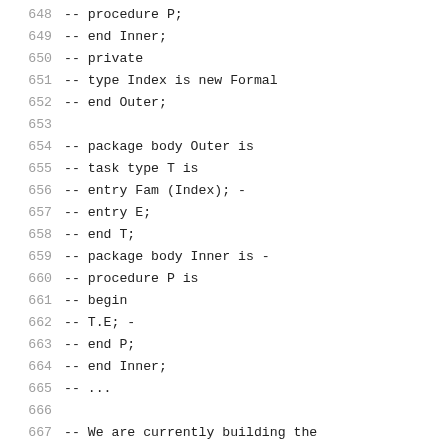648    --         procedure P;
649    --         end Inner;
650    --     private
651    --         type Index is new Formal
652    --     end Outer;
653
654    --     package body Outer is
655    --         task type T is
656    --             entry Fam (Index); -
657    --             entry E;
658    --         end T;
659    --         package body Inner is -
660    --             procedure P is
661    --             begin
662    --                 T.E;                -
663    --             end P;
664    --         end Inner;
665    --         ...
666
667    --  We are currently building the
668    --  call "T.E" (1). Part of the ex
669    --  of the discrete type "Index" (